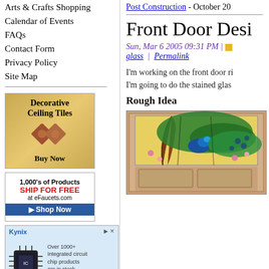Arts & Crafts Shopping
Calendar of Events
FAQs
Contact Form
Privacy Policy
Site Map
[Figure (illustration): Decorative Ceiling Tiles advertisement with diamond tile images and Buy Now text on gold background]
[Figure (illustration): eFaucets.com ad: 1,000's of Products SHIP FOR FREE at eFaucets.com with Shop Now button]
[Figure (illustration): Kynix advertisement showing microchip and text about integrated circuit chip products]
Post Construction - October 20...
Front Door Desi...
Sun, Mar 6 2005 09:31 PM | [category] glass  |  Permalink
I'm working on the front door ri...
I'm going to do the stained glas...
Rough Idea
[Figure (photo): Front door with stained glass peacock panel at top showing colorful peacock among flowers, wooden door panels below]